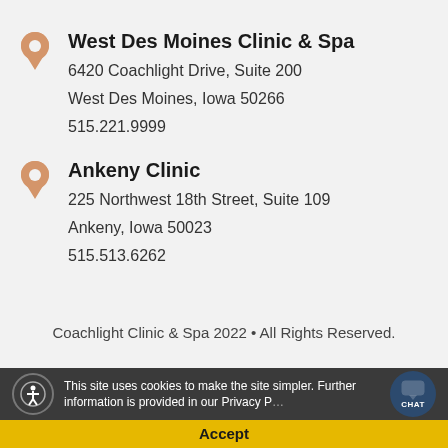West Des Moines Clinic & Spa
6420 Coachlight Drive, Suite 200
West Des Moines, Iowa 50266
515.221.9999
Ankeny Clinic
225 Northwest 18th Street, Suite 109
Ankeny, Iowa 50023
515.513.6262
Coachlight Clinic & Spa 2022 • All Rights Reserved.
This site uses cookies to make the site simpler. Further information is provided in our Privacy Policy.
Accept